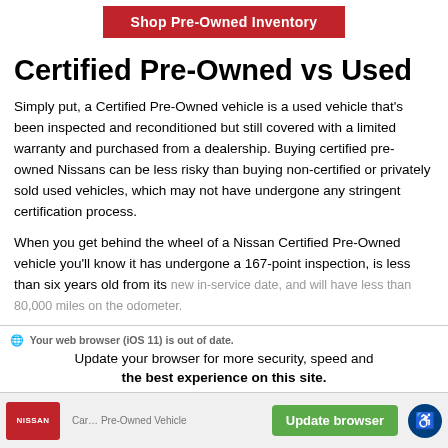[Figure (other): Red button with white text reading 'Shop Pre-Owned Inventory']
Certified Pre-Owned vs Used
Simply put, a Certified Pre-Owned vehicle is a used vehicle that's been inspected and reconditioned but still covered with a limited warranty and purchased from a dealership. Buying certified pre-owned Nissans can be less risky than buying non-certified or privately sold used vehicles, which may not have undergone any stringent certification process.
When you get behind the wheel of a Nissan Certified Pre-Owned vehicle you'll know it has undergone a 167-point inspection, is less than six years old from its new in-service date, and will have less than 80,000 miles on the odometer.
Your web browser (iOS 11) is out of date. Update your browser for more security, speed and the best experience on this site.